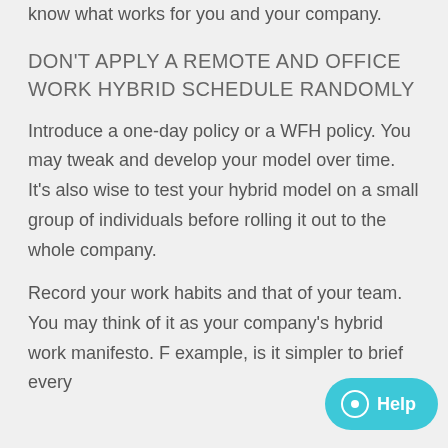know what works for you and your company.
DON'T APPLY A REMOTE AND OFFICE WORK HYBRID SCHEDULE RANDOMLY
Introduce a one-day policy or a WFH policy. You may tweak and develop your model over time. It's also wise to test your hybrid model on a small group of individuals before rolling it out to the whole company.
Record your work habits and that of your team. You may think of it as your company's hybrid work manifesto. For example, is it simpler to brief every...